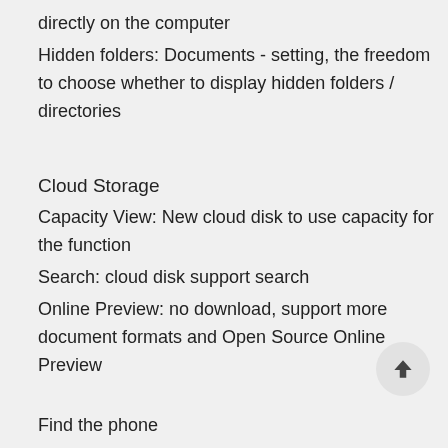directly on the computer
Hidden folders: Documents - setting, the freedom to choose whether to display hidden folders / directories
Cloud Storage
Capacity View: New cloud disk to use capacity for the function
Search: cloud disk support search
Online Preview: no download, support more document formats and Open Source Online Preview
Find the phone